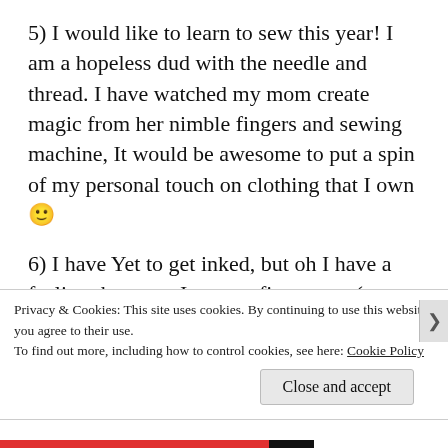5) I would like to learn to sew this year! I am a hopeless dud with the needle and thread. I have watched my mom create magic from her nimble fingers and sewing machine, It would be awesome to put a spin of my personal touch on clothing that I own 🙂
6) I have Yet to get inked, but oh I have a feeling that once I get my first tattoo (a black cat at the back of my neck), there's going to be no space left to ink after a few years haha 😐 I
Privacy & Cookies: This site uses cookies. By continuing to use this website, you agree to their use.
To find out more, including how to control cookies, see here: Cookie Policy